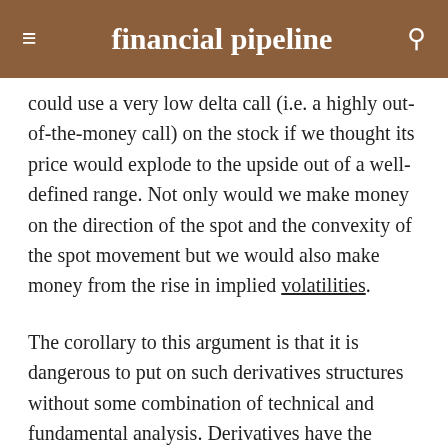financial pipeline
could use a very low delta call (i.e. a highly out-of-the-money call) on the stock if we thought its price would explode to the upside out of a well-defined range. Not only would we make money on the direction of the spot and the convexity of the spot movement but we would also make money from the rise in implied volatilities.
The corollary to this argument is that it is dangerous to put on such derivatives structures without some combination of technical and fundamental analysis. Derivatives have the potential for tremendous gains, but they require much more homework because of the leverage of